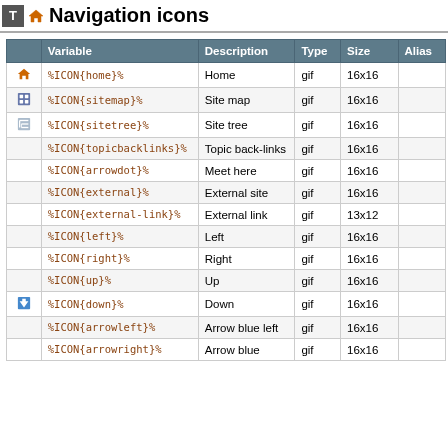Navigation icons
|  | Variable | Description | Type | Size | Alias |
| --- | --- | --- | --- | --- | --- |
| [home icon] | %ICON{home}% | Home | gif | 16x16 |  |
| [sitemap icon] | %ICON{sitemap}% | Site map | gif | 16x16 |  |
| [sitetree icon] | %ICON{sitetree}% | Site tree | gif | 16x16 |  |
|  | %ICON{topicbacklinks}% | Topic back-links | gif | 16x16 |  |
|  | %ICON{arrowdot}% | Meet here | gif | 16x16 |  |
|  | %ICON{external}% | External site | gif | 16x16 |  |
|  | %ICON{external-link}% | External link | gif | 13x12 |  |
|  | %ICON{left}% | Left | gif | 16x16 |  |
|  | %ICON{right}% | Right | gif | 16x16 |  |
|  | %ICON{up}% | Up | gif | 16x16 |  |
| [down icon] | %ICON{down}% | Down | gif | 16x16 |  |
|  | %ICON{arrowleft}% | Arrow blue left | gif | 16x16 |  |
|  | %ICON{arrowright}% | Arrow blue | gif | 16x16 |  |